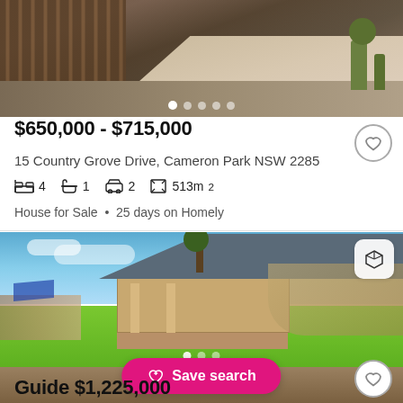[Figure (photo): Outdoor photo showing a wooden fence and paved pathway in a garden/backyard setting]
$650,000 - $715,000
15 Country Grove Drive, Cameron Park NSW 2285
4 bedrooms, 1 bathroom, 2 garage, 513m²
House for Sale • 25 days on Homely
[Figure (photo): Aerial/wide-angle photo of a single-storey brick house with hip roof, large backyard with green lawn, patio area, blue sky background]
Save search
Guide $1,225,000